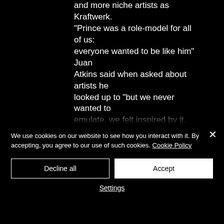and more niche artists as Kraftwerk. “Prince was a role-model for all of us: everyone wanted to be like him” Juan Atkins said when asked about artists he looked up to “but we never wanted to emulate, we felt inspired by it, but we wanted to do our thing”. This can be considered as a crucial turning point in the development of the industry, or better, it could be seen as the real starting point of our beloved techno music. Fun fact: Derrick May in an interview described the
We use cookies on our website to see how you interact with it. By accepting, you agree to our use of such cookies. Cookie Policy
Decline all
Accept
Settings